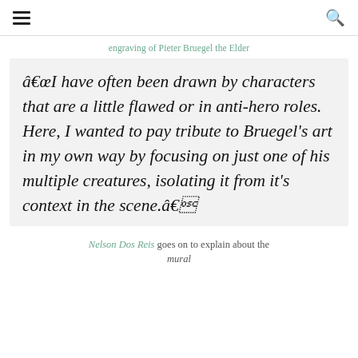≡  🔍
engraving of Pieter Bruegel the Elder
â€œI have often been drawn by characters that are a little flawed or in anti-hero roles. Here, I wanted to pay tribute to Bruegel's art in my own way by focusing on just one of his multiple creatures, isolating it from it's context in the scene.â€
Nelson Dos Reis goes on to explain about the mural